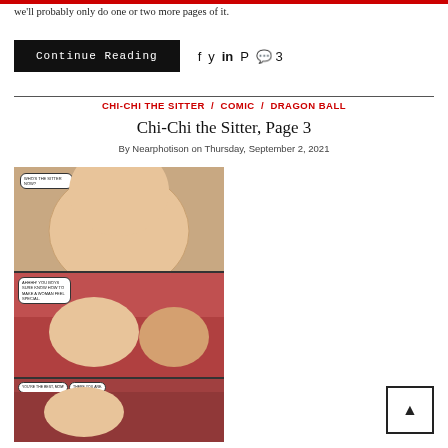we'll probably only do one or two more pages of it.
Continue Reading
f  ❤  in   Pinterest  💬 3
CHI-CHI THE SITTER  /  COMIC  /  DRAGON BALL
Chi-Chi the Sitter, Page 3
By Nearphotison on Thursday, September 2, 2021
[Figure (illustration): Comic page showing manga-style adult illustration panels from Chi-Chi the Sitter comic]
▲